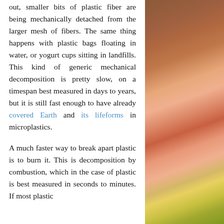out, smaller bits of plastic fiber are being mechanically detached from the larger mesh of fibers. The same thing happens with plastic bags floating in water, or yogurt cups sitting in landfills. This kind of generic mechanical decomposition is pretty slow, on a timespan best measured in days to years, but it is still fast enough to have already covered Earth and its lifeforms in microplastics.

A much faster way to break apart plastic is to burn it. This is decomposition by combustion, which in the case of plastic is best measured in seconds to minutes. If most plastic
[Figure (photo): Outdoor photo showing flowers (pink and orange blooms) with a brick building and arched window visible in the background.]